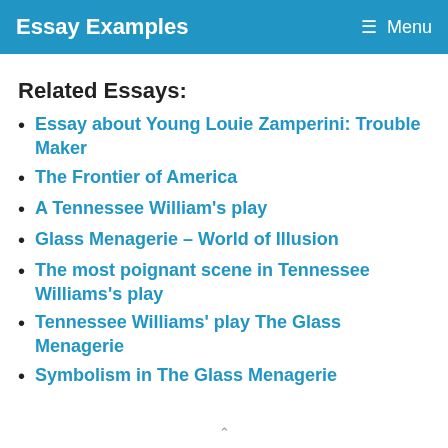Essay Examples   Menu
Related Essays:
Essay about Young Louie Zamperini: Trouble Maker
The Frontier of America
A Tennessee William's play
Glass Menagerie – World of Illusion
The most poignant scene in Tennessee Williams's play
Tennessee Williams' play The Glass Menagerie
Symbolism in The Glass Menagerie